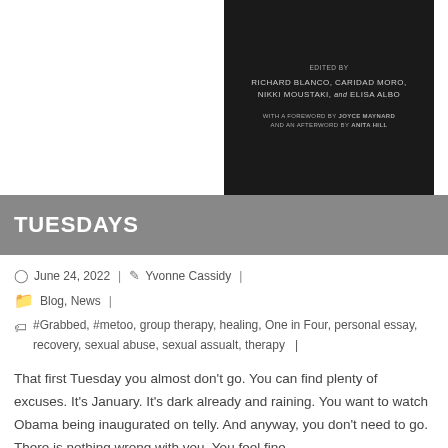[Figure (photo): Dark book cover showing editors: Richard Blanco, Caridad Moro, Nikki Moustaki, and Elisa Albo, with a foreword by Joyce Maynard and an afterword by Anita Hill]
TUESDAYS
June 24, 2022  |  Yvonne Cassidy  |
Blog, News  |
#Grabbed, #metoo, group therapy, healing, One in Four, personal essay, recovery, sexual abuse, sexual assualt, therapy  |
That first Tuesday you almost don't go. You can find plenty of excuses. It's January. It's dark already and raining. You want to watch Obama being inaugurated on telly. And anyway, you don't need to go. There is nothing wrong with you. You feel fine.